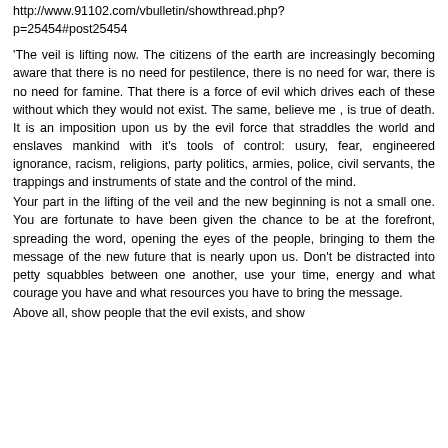http://www.91102.com/vbulletin/showthread.php?p=25454#post25454
'The veil is lifting now. The citizens of the earth are increasingly becoming aware that there is no need for pestilence, there is no need for war, there is no need for famine. That there is a force of evil which drives each of these without which they would not exist. The same, believe me , is true of death. It is an imposition upon us by the evil force that straddles the world and enslaves mankind with it's tools of control: usury, fear, engineered ignorance, racism, religions, party politics, armies, police, civil servants, the trappings and instruments of state and the control of the mind.
Your part in the lifting of the veil and the new beginning is not a small one. You are fortunate to have been given the chance to be at the forefront, spreading the word, opening the eyes of the people, bringing to them the message of the new future that is nearly upon us. Don't be distracted into petty squabbles between one another, use your time, energy and what courage you have and what resources you have to bring the message.
Above all, show people that the evil exists, and show